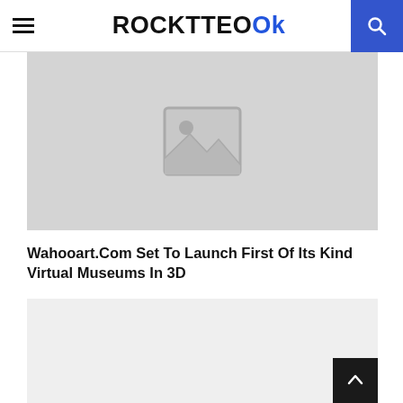≡  ROCKTTEOK  🔍
[Figure (photo): Image placeholder with mountain/landscape icon on light grey background]
Wahooart.Com Set To Launch First Of Its Kind Virtual Museums In 3D
[Figure (photo): Light grey placeholder image area at bottom of page]